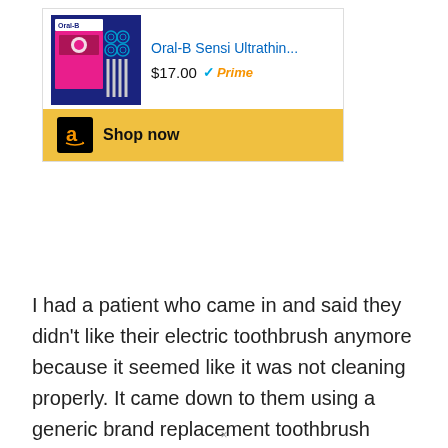[Figure (screenshot): Amazon product advertisement for Oral-B Sensi Ultrathin toothbrush replacement heads, showing product image, title, $17.00 price with Prime badge, and a Shop now button with Amazon logo on gold background.]
I had a patient who came in and said they didn't like their electric toothbrush anymore because it seemed like it was not cleaning properly. It came down to them using a generic brand replacement toothbrush head. I asked them to bring it in and on further investigation, as soon as any pressure was applied to the tooth, the generic toothbrush head actually stopped moving. But you could